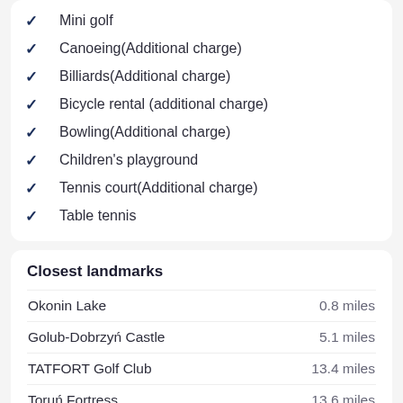Mini golf
Canoeing(Additional charge)
Billiards(Additional charge)
Bicycle rental (additional charge)
Bowling(Additional charge)
Children's playground
Tennis court(Additional charge)
Table tennis
Closest landmarks
| Landmark | Distance |
| --- | --- |
| Okonin Lake | 0.8 miles |
| Golub-Dobrzyń Castle | 5.1 miles |
| TATFORT Golf Club | 13.4 miles |
| Toruń Fortress | 13.6 miles |
| Toruń Wschodni Railway Station | 13.7 miles |
| Toruń Miasto Railway Station | 14.5 miles |